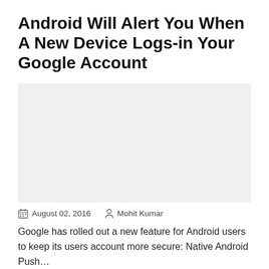Android Will Alert You When A New Device Logs-in Your Google Account
[Figure (photo): Placeholder image area with light gray background]
August 02, 2016   Mohit Kumar
Google has rolled out a new feature for Android users to keep its users account more secure: Native Android Push…